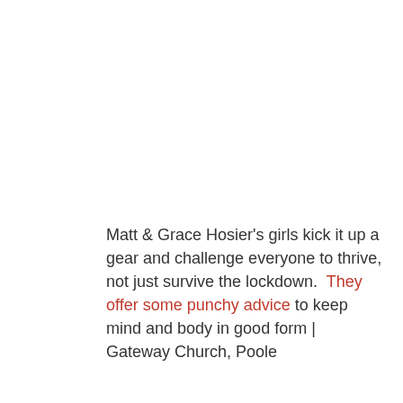Matt & Grace Hosier's girls kick it up a gear and challenge everyone to thrive, not just survive the lockdown. They offer some punchy advice to keep mind and body in good form | Gateway Church, Poole